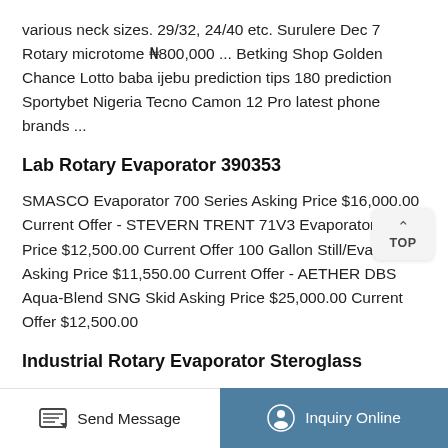various neck sizes. 29/32, 24/40 etc. Surulere Dec 7 Rotary microtome ₦800,000 ... Betking Shop Golden Chance Lotto baba ijebu prediction tips 180 prediction Sportybet Nigeria Tecno Camon 12 Pro latest phone brands ...
Lab Rotary Evaporator 390353
SMASCO Evaporator 700 Series Asking Price $16,000.00 Current Offer - STEVERN TRENT 71V3 Evaporator Asking Price $12,500.00 Current Offer 100 Gallon Still/Evaporator Asking Price $11,550.00 Current Offer - AETHER DBS Aqua-Blend SNG Skid Asking Price $25,000.00 Current Offer $12,500.00
Industrial Rotary Evaporator Steroglass
STRIKE20 is a 20L Rotary Evaporator engineered for
Send Message   Inquiry Online